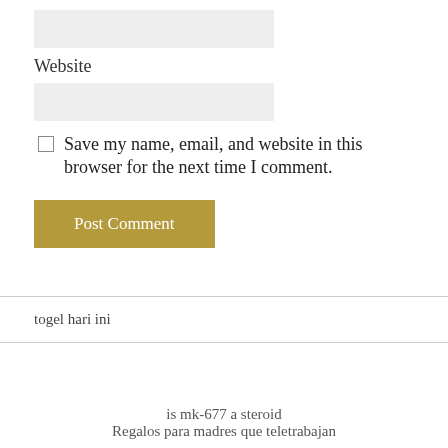[Figure (screenshot): Input field (empty, light gray background) at top of page]
Website
[Figure (screenshot): Input field labeled Website (empty, light gray background)]
Save my name, email, and website in this browser for the next time I comment.
[Figure (screenshot): Post Comment button with gold/tan background]
togel hari ini
is mk-677 a steroid
Regalos para madres que teletrabajan